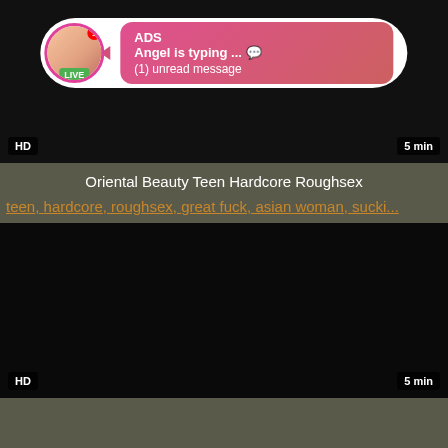[Figure (screenshot): Video thumbnail with dark/black background, HD badge bottom-left, 5 min badge bottom-right, and an advertisement overlay showing a profile avatar with LIVE badge, and a pink notification bubble with 'ADS Angel is typing ... (1) unread message']
Oriental Beauty Teen Hardcore Roughsex
teen, hardcore, roughsex, great fuck, asian woman, sucki...
[Figure (screenshot): Second video thumbnail with completely black background, HD badge bottom-left, 5 min badge bottom-right]